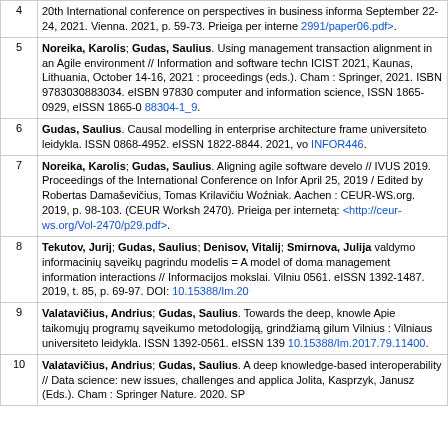| # | Reference |
| --- | --- |
| 4 | 20th International conference on perspectives in business informatics research, September 22-24, 2021. Vienna. 2021, p. 59-73. Prieiga per internetą: <...2991/paper06.pdf>. |
| 5 | Noreika, Karolis; Gudas, Saulius. Using management transactions alignment in an Agile environment // Information and software technology. ICIST 2021, Kaunas, Lithuania, October 14-16, 2021 : proceedings (eds.). Cham : Springer, 2021. ISBN 9783030883034. eISBN 97830... computer and information science, ISSN 1865-0929, eISSN 1865-0... 88304-1_9. |
| 6 | Gudas, Saulius. Causal modelling in enterprise architecture framework... universiteto leidykla. ISSN 0868-4952. eISSN 1822-8844. 2021, vol... INFOR446. |
| 7 | Noreika, Karolis; Gudas, Saulius. Aligning agile software development... // IVUS 2019. Proceedings of the International Conference on Informatics, April 25, 2019 / Edited by Robertas Damaševičius, Tomas Krilavičius, Woźniak. Aachen : CEUR-WS.org. 2019, p. 98-103. (CEUR Workshop... 2470). Prieiga per internetą: <http://ceur-ws.org/Vol-2470/p29.pdf>. |
| 8 | Tekutov, Jurij; Gudas, Saulius; Denisov, Vitalij; Smirnova, Julija... valdymo informacinių sąveikų pagrindu modelis = A model of domain management information interactions // Informacijos mokslai. Vilniu... 0561. eISSN 1392-1487. 2019, t. 85, p. 69-97. DOI: 10.15388/Im.20... |
| 9 | Valatavičius, Andrius; Gudas, Saulius. Towards the deep, knowledge... Apie taikomųjų programų sąveikumo metodologiją, grindžiamą gilum... Vilnius : Vilniaus universiteto leidykla. ISSN 1392-0561. eISSN 139... 10.15388/Im.2017.79.11400. |
| 10 | Valatavičius, Andrius; Gudas, Saulius. A deep knowledge-based interoperability // Data science: new issues, challenges and applica... Jolita, Kasprzyk, Janusz (Eds.). Cham : Springer Nature. 2020. SB... |